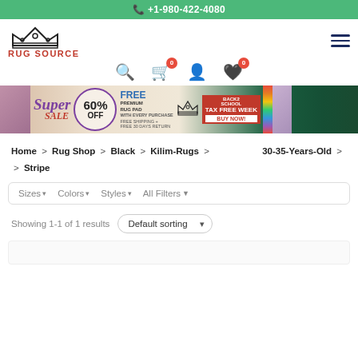+1-980-422-4080
[Figure (logo): Rug Source logo with crown icon and red text]
[Figure (infographic): Super Sale banner: 60% OFF, FREE Premium Rug Pad, Back2School Tax Free Week, Buy Now, free shipping, free 30 days return]
Home > Rug Shop > Black > Kilim-Rugs > 30-35-Years-Old > > Stripe
Sizes   Colors   Styles   All Filters
Showing 1-1 of 1 results   Default sorting